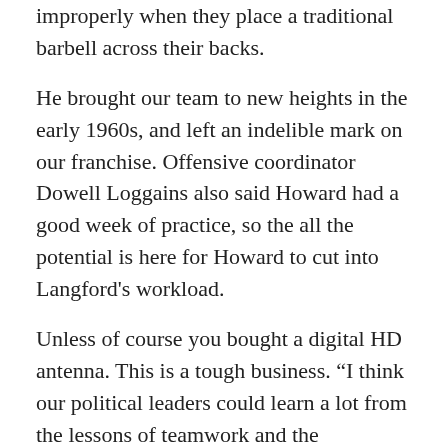improperly when they place a traditional barbell across their backs.
He brought our team to new heights in the early 1960s, and left an indelible mark on our franchise. Offensive coordinator Dowell Loggains also said Howard had a good week of practice, so the all the potential is here for Howard to cut into Langford’s workload.
Unless of course you bought a digital HD antenna. This is a tough business. “I think our political leaders could learn a lot from the lessons of teamwork and the importance of working together toward a common goal.”. His coaching style and his offensive philosophy allows the quarterback to do that.”.
Nevertheless, http://www.kpillusions.com/about-a-year-ago-before-our-tennessee-game-i-met-with-derek-carr-and-i…